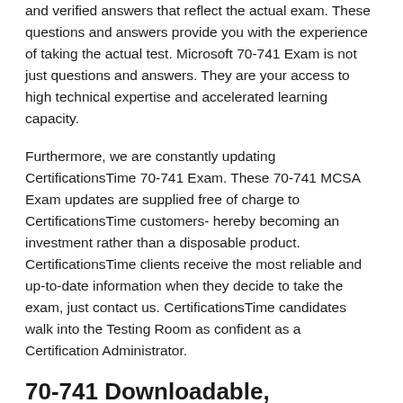and verified answers that reflect the actual exam. These questions and answers provide you with the experience of taking the actual test. Microsoft 70-741 Exam is not just questions and answers. They are your access to high technical expertise and accelerated learning capacity.
Furthermore, we are constantly updating CertificationsTime 70-741 Exam. These 70-741 MCSA Exam updates are supplied free of charge to CertificationsTime customers- hereby becoming an investment rather than a disposable product. CertificationsTime clients receive the most reliable and up-to-date information when they decide to take the exam, just contact us. CertificationsTime candidates walk into the Testing Room as confident as a Certification Administrator.
70-741 Downloadable, Interactive